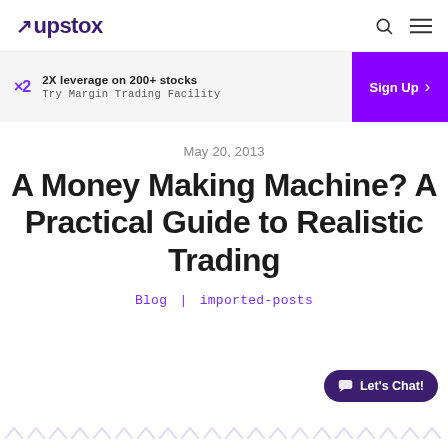upstox
[Figure (infographic): Upstox promotional banner: ×2 — 2X leverage on 200+ stocks, Try Margin Trading Facility, Sign Up button]
May 20, 2013
A Money Making Machine? A Practical Guide to Realistic Trading
Blog | imported-posts